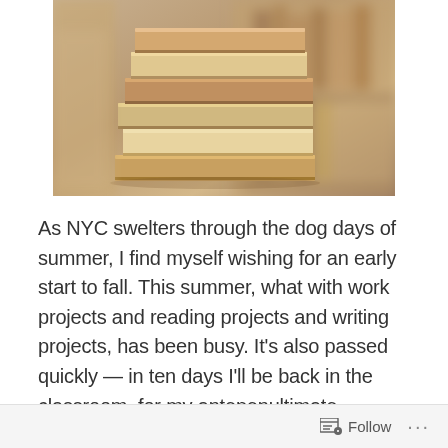[Figure (photo): A stack of old books in a library setting, blurred background with bookshelves]
As NYC swelters through the dog days of summer, I find myself wishing for an early start to fall. This summer, what with work projects and reading projects and writing projects, has been busy. It's also passed quickly — in ten days I'll be back in the classroom, for my antepenultimate semester of teaching. Yes, it's official. Retirement is close enough to seem real.
Meanwhile. I've just finished my 43rd book for the 2015 Reading Challenge. Here's the next installment of highlights:
Follow ···